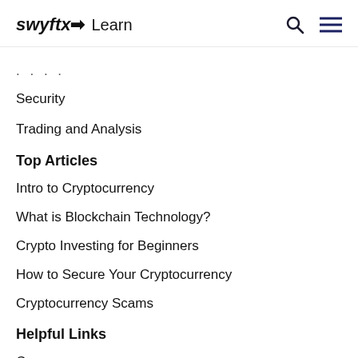swyftx Learn
...
Security
Trading and Analysis
Top Articles
Intro to Cryptocurrency
What is Blockchain Technology?
Crypto Investing for Beginners
How to Secure Your Cryptocurrency
Cryptocurrency Scams
Helpful Links
Courses
Quizzes